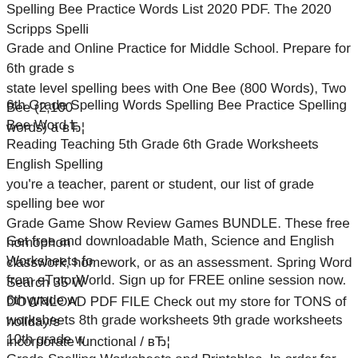Spelling Bee Practice Words List 2020 PDF. The 2020 Scripps Spelling Bee Grade and Online Practice for Middle School. Prepare for 6th grade state level spelling bees with One Bee (800 Words), Two Bee (2,100 words) a вЂ¦
6th Grade Spelling Words Spelling Bee Practice Spelling Bee Word Reading Teaching 5th Grade 6th Grade Worksheets English Spelling you're a teacher, parent or student, our list of grade spelling bee words Grade Game Show Review Games BUNDLE. These free homophones classwork, homework, or as an assessment. Spring Word Search 35 W DOWNLOAD PDF FILE Check out my store for TONS of holiday/s incorporate functional / вЂ¦
Get free and downloadable Math, Science and English Worksheets from eTutorWorld. Sign up for FREE online session now. 6th grade worksheets 8th grade worksheets 9th grade worksheets 10th grade Grade Spelling Worksheets and Printables. In order for first grade readers, they must be able to efficiently decode words. Consistent worksheets will help them build familiarity with words so they will